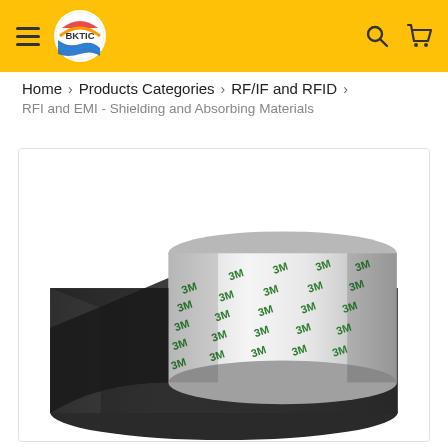BKTIC — navigation header with hamburger menu, logo, search and cart icons
Home > Products Categories > RF/IF and RFID > RFI and EMI - Shielding and Absorbing Materials
[Figure (photo): A roll of dark gray/black EMI shielding absorbing material sheet being unrolled, showing the 3M adhesive backing liner with green 3M branding text repeated across the white liner.]